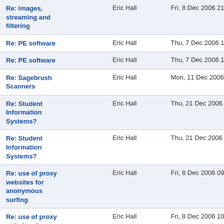| Subject | From | Date |
| --- | --- | --- |
| Re: images, streaming and filtering | Eric Hall | Fri, 8 Dec 2006 21:04:35 |
| Re: PE software | Eric Hall | Thu, 7 Dec 2006 10:20:5 |
| Re: PE software | Eric Hall | Thu, 7 Dec 2006 10:43:4 |
| Re: Sagebrush Scanners | Eric Hall | Mon, 11 Dec 2006 11:24 |
| Re: Student Information Systems? | Eric Hall | Thu, 21 Dec 2006 10:03 |
| Re: Student Information Systems? | Eric Hall | Thu, 21 Dec 2006 11:03 |
| Re: use of proxy websites for anonymous surfing | Eric Hall | Fri, 8 Dec 2006 09:39:44 |
| Re: use of proxy websites for anonymous surfing | Eric Hall | Fri, 8 Dec 2006 10:28:21 |
| Re: Zacharinos | Frank Watson | Sat, 16 Dec 2006 09:59: |
| Re: Google Advances Online Software Crusade | gr | Tue, 5 Dec 2006 09:22:4 |